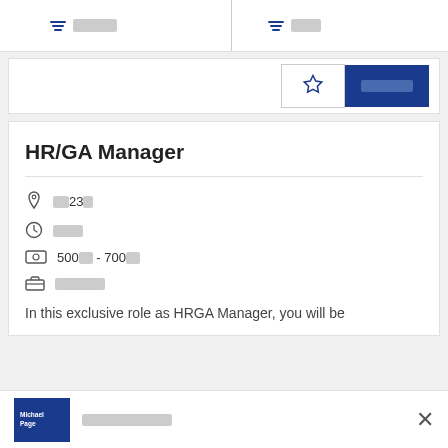[filter] [redacted] | [filter] [redacted]
[Figure (screenshot): Star/favorite button and blue apply button in top card area]
HR/GA Manager
[location icon] [redacted]23[redacted]
[clock icon] [redacted]
[salary icon] 500[redacted] - 700[redacted]
[briefcase icon] [redacted]
In this exclusive role as HRGA Manager, you will be
Michael Page [redacted]  ×